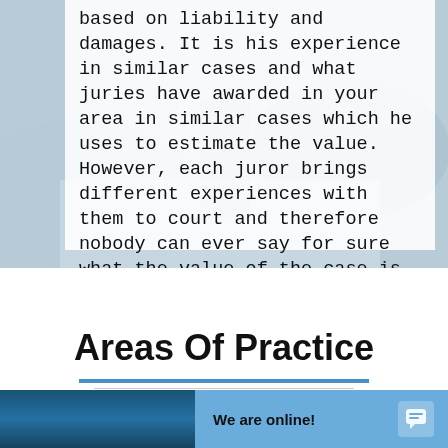[Figure (photo): Blurred background photo of a legal/office setting with a white semi-transparent card overlay containing text]
based on liability and damages. It is his experience in similar cases and what juries have awarded in your area in similar cases which he uses to estimate the value. However, each juror brings different experiences with them to court and therefore nobody can ever say for sure what the value of the case is until a jury renders their verdict.
Areas Of Practice
[Figure (photo): Partial photo of a building or outdoor legal scene, blue-toned, with a chat widget overlay showing 'We are online!']
We are online!